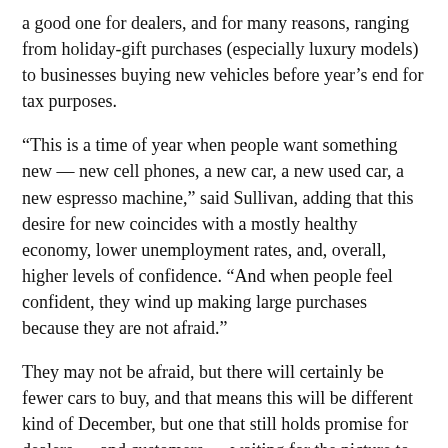a good one for dealers, and for many reasons, ranging from holiday-gift purchases (especially luxury models) to businesses buying new vehicles before year's end for tax purposes.
“This is a time of year when people want something new — new cell phones, a new car, a new used car, a new espresso machine,” said Sullivan, adding that this desire for new coincides with a mostly healthy economy, lower unemployment rates, and, overall, higher levels of confidence. “And when people feel confident, they wind up making large purchases because they are not afraid.”
They may not be afraid, but there will certainly be fewer cars to buy, and that means this will be different kind of December, but one that still holds promise for dealers — and customers — waiting for the picture to improve.